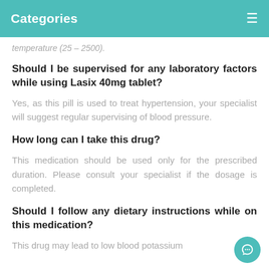Categories
temperature (25 – 2500).
Should I be supervised for any laboratory factors while using Lasix 40mg tablet?
Yes, as this pill is used to treat hypertension, your specialist will suggest regular supervising of blood pressure.
How long can I take this drug?
This medication should be used only for the prescribed duration. Please consult your specialist if the dosage is completed.
Should I follow any dietary instructions while on this medication?
This drug may lead to low blood potassium